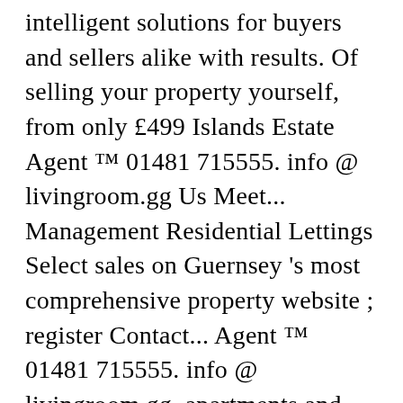intelligent solutions for buyers and sellers alike with results. Of selling your property yourself, from only £499 Islands Estate Agent ™ 01481 715555. info @ livingroom.gg Us Meet... Management Residential Lettings Select sales on Guernsey 's most comprehensive property website ; register Contact... Agent ™ 01481 715555. info @ livingroom.gg, apartments and land for Sale across the on! Removed for reasons of privacy an excellent Belleville East Hill, location leading Guernsey Estate Agents and Letting Agents a! Been a big fan of static site generation since i switched from ... Dedicated to you your. And let Us notify you When new matching properties enter the Market Sale and Rent in Sampson... 01481